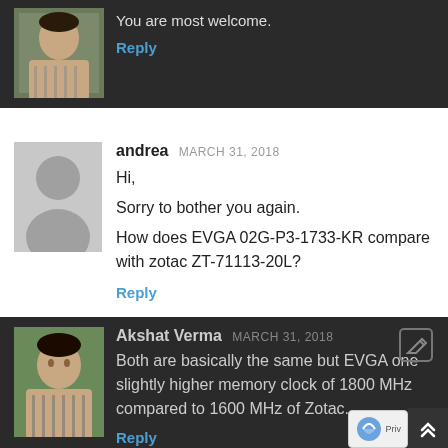You are most welcome.
Reply
andrea MARCH 31, 2018
Hi,
Sorry to bother you again.
How does EVGA 02G-P3-1733-KR compare with zotac ZT-71113-20L?
Reply
Akshat Verma MARCH 31, 2018
Both are basically the same but EVGA one slightly higher memory clock of 1800 MHz compared to 1600 MHz of Zotac.
Reply